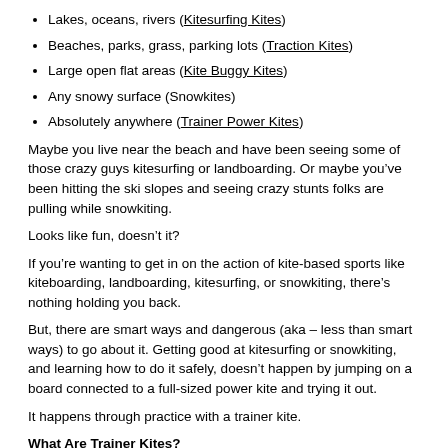Lakes, oceans, rivers (Kitesurfing Kites)
Beaches, parks, grass, parking lots (Traction Kites)
Large open flat areas (Kite Buggy Kites)
Any snowy surface (Snowkites)
Absolutely anywhere (Trainer Power Kites)
Maybe you live near the beach and have been seeing some of those crazy guys kitesurfing or landboarding. Or maybe you’ve been hitting the ski slopes and seeing crazy stunts folks are pulling while snowkiting.
Looks like fun, doesn’t it?
If you’re wanting to get in on the action of kite-based sports like kiteboarding, landboarding, kitesurfing, or snowkiting, there’s nothing holding you back.
But, there are smart ways and dangerous (aka – less than smart ways) to go about it. Getting good at kitesurfing or snowkiting, and learning how to do it safely, doesn’t happen by jumping on a board connected to a full-sized power kite and trying it out.
It happens through practice with a trainer kite.
What Are Trainer Kites?